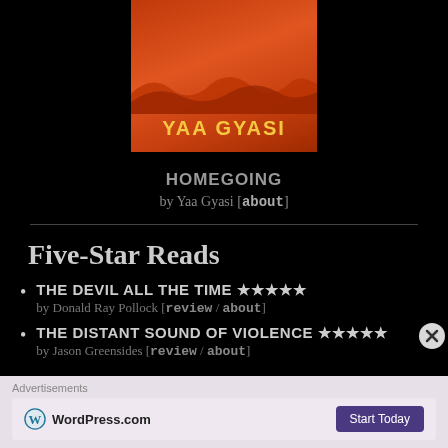[Figure (illustration): Book cover for Homegoing by Yaa Gyasi — orange/red background with waves and silhouette, author name in yellow bold letters]
HOMEGOING
by Yaa Gyasi [about]
Five-Star Reads
THE DEVIL ALL THE TIME ★★★★★ by Donald Ray Pollock [review / about]
THE DISTANT SOUND OF VIOLENCE ★★★★★ by Jason Greensides [review / about]
Advertisements
[Figure (screenshot): WordPress.com advertisement banner with Start Today button]